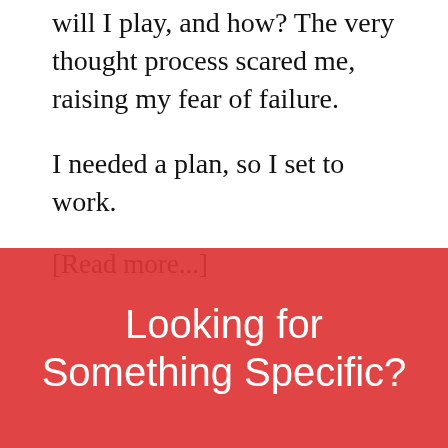will I play, and how? The very thought process scared me, raising my fear of failure.
I needed a plan, so I set to work.
[Read more...]
Looking for Something Specific?